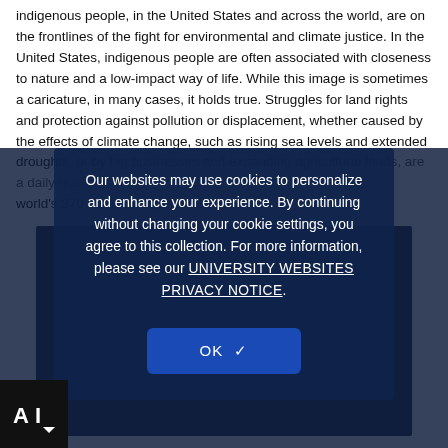indigenous people, in the United States and across the world, are on the frontlines of the fight for environmental and climate justice. In the United States, indigenous people are often associated with closeness to nature and a low-impact way of life. While this image is sometimes a caricature, in many cases, it holds true. Struggles for land rights and protection against pollution or displacement, whether caused by the effects of climate change, such as rising sea levels and extended droughts, or by big businesses and expanding agricultural lands, are a daily reality of the world's 370 million indigenous people.
Our websites may use cookies to personalize and enhance your experience. By continuing without changing your cookie settings, you agree to this collection. For more information, please see our UNIVERSITY WEBSITES PRIVACY NOTICE. OK ✓
[Figure (photo): Partially visible photograph behind the cookie consent modal overlay, showing a dark blue-toned image.]